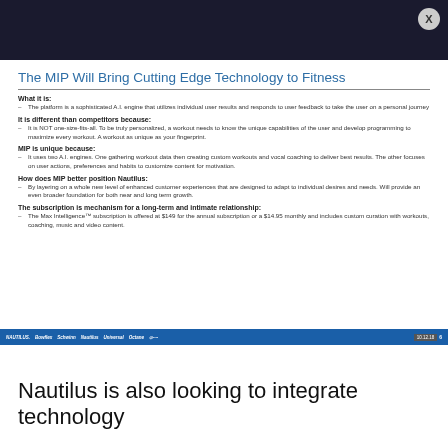The MIP Will Bring Cutting Edge Technology to Fitness
What it is:
The platform is a sophisticated A.I. engine that utilizes individual user results and responds to user feedback to take the user on a personal journey
It is different than competitors because:
It is NOT one-size-fits-all. To be truly personalized, a workout needs to know the unique capabilities of the user and develop programming to maximize every workout. A workout as unique as your fingerprint.
MIP is unique because:
It uses two A.I. engines. One gathering workout data then creating custom workouts and vocal coaching to deliver best results. The other focuses on user actions, preferences and habits to customize content for motivation.
How does MIP better position Nautilus:
By layering on a whole new level of enhanced customer experiences that are designed to adapt to individual desires and needs. Will provide an even broader foundation for both near and long term growth.
The subscription is mechanism for a long-term and intimate relationship:
The Max Intelligence™ subscription is offered at $149 for the annual subscription or a $14.95 monthly and includes custom curation with workouts, coaching, music and video content.
Nautilus | Bowflex | Schwinn | Nautilus | Universal | Octane | 10.12.18 | 6
Nautilus is also looking to integrate technology